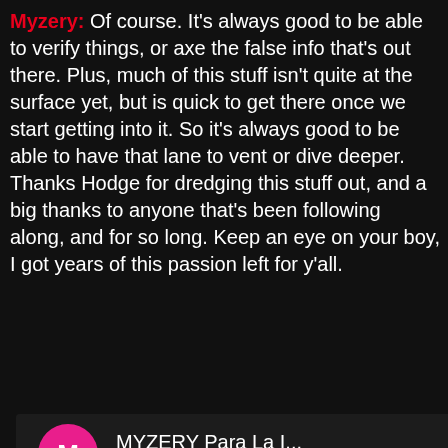Myzery: Of course.  It's always good to be able to verify things, or axe the false info that's out there.  Plus, much of this stuff isn't quite at the surface yet, but is quick to get there once we start getting into it.  So it's always good to be able to have that lane to vent or dive deeper.  Thanks Hodge for dredging this stuff out, and a big thanks to anyone that's been following along, and for so long.  Keep an eye on your boy, I got years of this passion left for y'all.
[Figure (screenshot): YouTube video embed showing MYZERY Para La I... with a pink M avatar circle and three-dot menu. The video thumbnail shows the Myzery logo text and 'Para La Isla' album art on a dark red background with a play button in the center.]